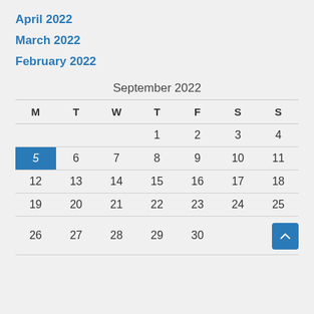April 2022
March 2022
February 2022
September 2022
| M | T | W | T | F | S | S |
| --- | --- | --- | --- | --- | --- | --- |
|  |  |  | 1 | 2 | 3 | 4 |
| 5 | 6 | 7 | 8 | 9 | 10 | 11 |
| 12 | 13 | 14 | 15 | 16 | 17 | 18 |
| 19 | 20 | 21 | 22 | 23 | 24 | 25 |
| 26 | 27 | 28 | 29 | 30 |  |  |